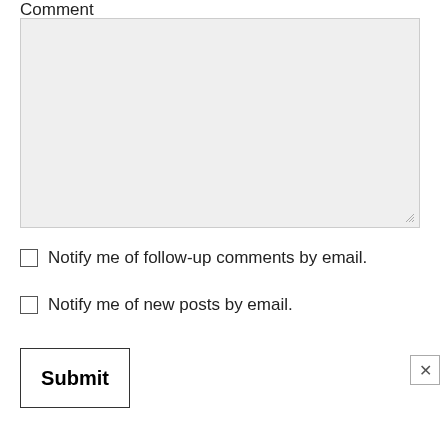Comment
[Figure (screenshot): A large empty comment textarea input box with a light gray background and resize handle in the bottom right corner.]
Notify me of follow-up comments by email.
Notify me of new posts by email.
Submit
[Figure (other): An X (close) button in the bottom right corner.]